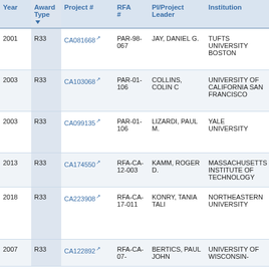| Year | Award Type | Project # | RFA # | PI/Project Leader | Institution | T |
| --- | --- | --- | --- | --- | --- | --- |
| 2001 | R33 | CA081668 | PAR-98-067 | JAY, DANIEL G. | TUFTS UNIVERSITY BOSTON | H... CA... VA... M... |
| 2003 | R33 | CA103068 | PAR-01-106 | COLLINS, COLIN C | UNIVERSITY OF CALIFORNIA SAN FRANCISCO | D... E... F... O... |
| 2003 | R33 | CA099135 | PAR-01-106 | LIZARDI, PAUL M. | YALE UNIVERSITY | G... O... G... A... |
| 2013 | R33 | CA174550 | RFA-CA-12-003 | KAMM, ROGER D. | MASSACHUSETTS INSTITUTE OF TECHNOLOGY | M... A... M... |
| 2018 | R33 | CA223908 | RFA-CA-17-011 | KONRY, TANIA TALI | NORTHEASTERN UNIVERSITY | De... se... ly... m... ce... pl... |
| 2007 | R33 | CA122892 | RFA-CA-07-... | BERTICS, PAUL JOHN | UNIVERSITY OF WISCONSIN- | M... A... |